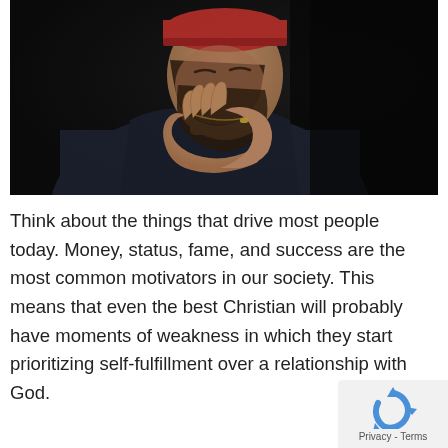[Figure (photo): A bearded man wearing a red beanie hat with hands clasped together in prayer, head bowed down, wearing a dark jacket, photographed against a dark background.]
Think about the things that drive most people today. Money, status, fame, and success are the most common motivators in our society. This means that even the best Christian will probably have moments of weakness in which they start prioritizing self-fulfillment over a relationship with God.